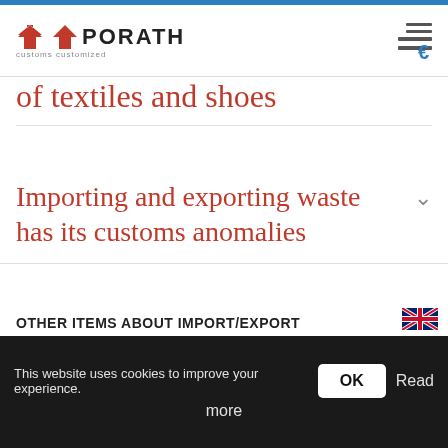PORATH customs customized
of textiles and shoes
Importing and exporting waste has its customs anomalies
OTHER ITEMS ABOUT IMPORT/EXPORT
This website uses cookies to improve your experience. OK Read more